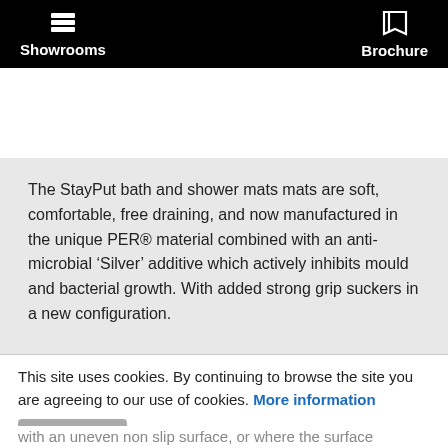Showrooms   Brochure
Description
The StayPut bath and shower mats mats are soft, comfortable, free draining, and now manufactured in the unique PER® material combined with an anti-microbial 'Silver' additive which actively inhibits mould and bacterial growth. With added strong grip suckers in a new configuration.
This site uses cookies. By continuing to browse the site you are agreeing to our use of cookies. More information
with an uneven non slip surface, or where the surface